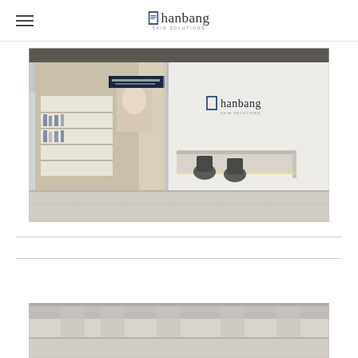hanbang
[Figure (photo): Interior of Hanbang skin solutions clinic/store showing a modern white reception area with a reception desk, dark chairs, and a SkinCeuticals product display on the left side with shelving and promotional imagery. The space has glass walls and polished marble flooring.]
[Figure (photo): Bottom partial view of what appears to be another interior or exterior photo of the Hanbang location, partially visible at the bottom of the page.]